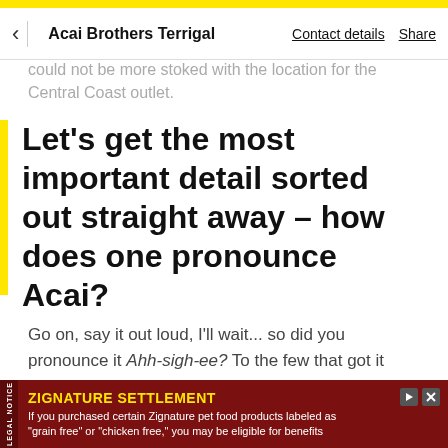Acai Brothers Terrigal — Contact details  Share
could not be more stoked with the location for the Central Coast outlet.
Let's get the most important detail sorted out straight away – how does one pronounce Acai?
Go on, say it out loud, I'll wait... so did you pronounce it Ahh-sigh-ee? To the few that got it correct, well done and to those (me included) that did not, we are not alone.  So much so Ben and Sam actually released a video on how to say it.
ZIGNATURE SETTLEMENT
If you purchased certain Zignature pet food products labeled as "grain free" or "chicken free," you may be eligible for benefits